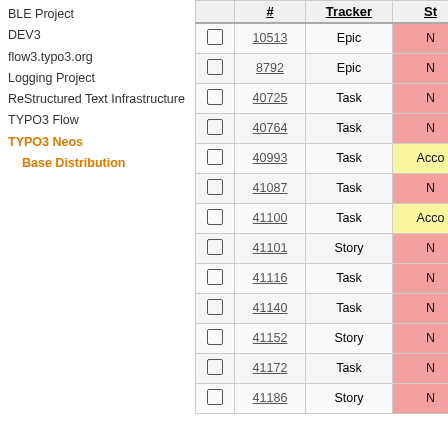BLE Project
DEV3
flow3.typo3.org
Logging Project
ReStructured Text Infrastructure
TYPO3 Flow
TYPO3 Neos
Base Distribution
|  | # | Tracker | St |
| --- | --- | --- | --- |
| ☐ | 10513 | Epic | N |
| ☐ | 8792 | Epic | N |
| ☐ | 40725 | Task | N |
| ☐ | 40764 | Task | N |
| ☐ | 40993 | Task | Acco |
| ☐ | 41087 | Task | N |
| ☐ | 41100 | Task | Acco |
| ☐ | 41101 | Story | N |
| ☐ | 41116 | Task | N |
| ☐ | 41140 | Task | N |
| ☐ | 41152 | Story | N |
| ☐ | 41172 | Task | N |
| ☐ | 41186 | Story | N |